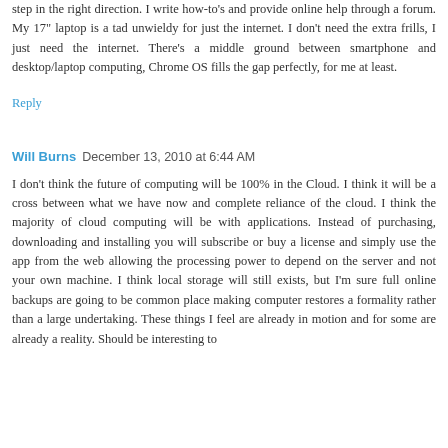step in the right direction. I write how-to's and provide online help through a forum. My 17" laptop is a tad unwieldy for just the internet. I don't need the extra frills, I just need the internet. There's a middle ground between smartphone and desktop/laptop computing, Chrome OS fills the gap perfectly, for me at least.
Reply
Will Burns  December 13, 2010 at 6:44 AM
I don't think the future of computing will be 100% in the Cloud. I think it will be a cross between what we have now and complete reliance of the cloud. I think the majority of cloud computing will be with applications. Instead of purchasing, downloading and installing you will subscribe or buy a license and simply use the app from the web allowing the processing power to depend on the server and not your own machine. I think local storage will still exists, but I'm sure full online backups are going to be common place making computer restores a formality rather than a large undertaking. These things I feel are already in motion and for some are already a reality. Should be interesting to